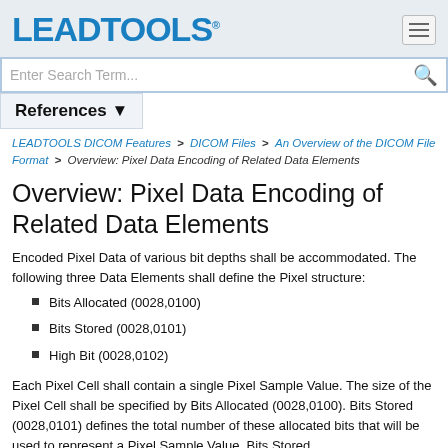LEADTOOLS
Enter Search Term...
References ▼
LEADTOOLS DICOM Features > DICOM Files > An Overview of the DICOM File Format > Overview: Pixel Data Encoding of Related Data Elements
Overview: Pixel Data Encoding of Related Data Elements
Encoded Pixel Data of various bit depths shall be accommodated. The following three Data Elements shall define the Pixel structure:
Bits Allocated (0028,0100)
Bits Stored (0028,0101)
High Bit (0028,0102)
Each Pixel Cell shall contain a single Pixel Sample Value. The size of the Pixel Cell shall be specified by Bits Allocated (0028,0100). Bits Stored (0028,0101) defines the total number of these allocated bits that will be used to represent a Pixel Sample Value. Bits Stored